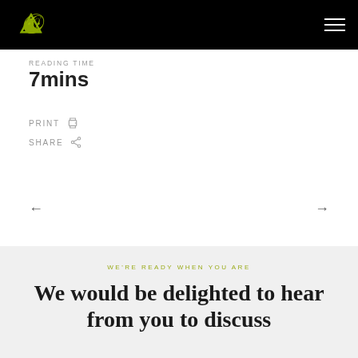MVB logo and hamburger menu navigation
READING TIME
7mins
PRINT
SHARE
← →
WE'RE READY WHEN YOU ARE
We would be delighted to hear from you to discuss